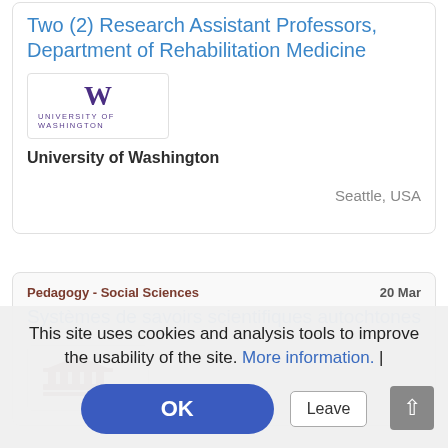Two (2) Research Assistant Professors, Department of Rehabilitation Medicine
[Figure (logo): University of Washington logo with purple W and text 'UNIVERSITY of WASHINGTON']
University of Washington
Seattle, USA
Pedagogy - Social Sciences
20 Mar
Systèmes de savoirs scientifiques autochtones
[Figure (logo): Building/institution icon in red]
This site uses cookies and analysis tools to improve the usability of the site. More information. |
OK
Leave